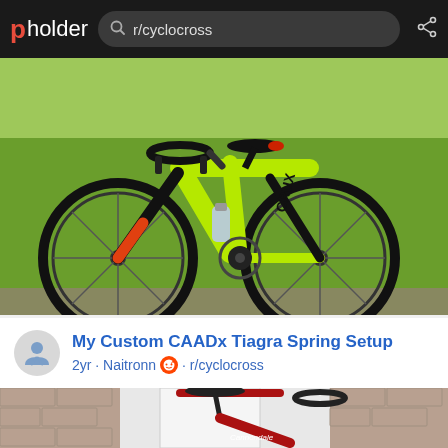pholder | r/cyclocross
[Figure (photo): A bright neon green Specialized Crux cyclocross bike parked on a grass field with a water bottle in the cage, drop handlebars, disc brakes, and orange/red accent colors on the fork and rear triangle.]
[Figure (other): Circular user avatar icon with a person/figure symbol in blue-gray on light gray background]
My Custom CAADx Tiagra Spring Setup
2yr · Naitronn · r/cyclocross
[Figure (photo): Partial view of a red Cannondale cyclocross/gravel bike leaning against a brick wall near a white door, showing the saddle, seatpost, and handlebar area.]